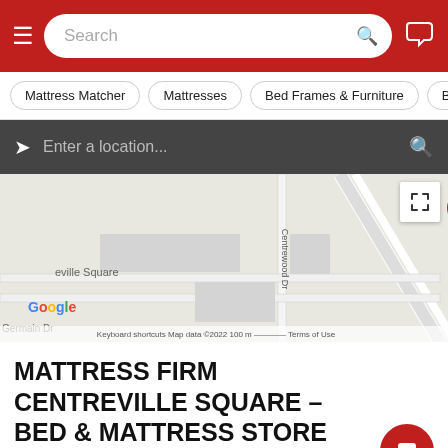Search
Mattress Matcher
Mattresses
Bed Frames & Furniture
Be...
Enter a location...
[Figure (map): Google Maps view showing Mattress Firm Centreville Square location on Crest Ln near Centrewood Dr, with route 29 visible. Red map pin marker shown. Map data ©2022. Shows Ceville Square, Google branding, Germain Dr, Keyboard shortcuts, 100m scale bar, Terms of Use.]
MATTRESS FIRM CENTREVILLE SQUARE – BED & MATTRESS STORE CENTREVILLE VA